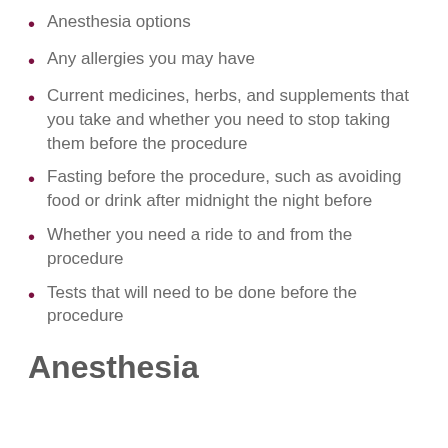Anesthesia options
Any allergies you may have
Current medicines, herbs, and supplements that you take and whether you need to stop taking them before the procedure
Fasting before the procedure, such as avoiding food or drink after midnight the night before
Whether you need a ride to and from the procedure
Tests that will need to be done before the procedure
Anesthesia